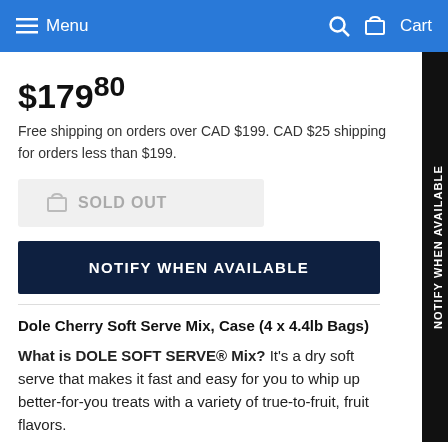Menu  Cart
$179.80
Free shipping on orders over CAD $199. CAD $25 shipping for orders less than $199.
SOLD OUT
NOTIFY WHEN AVAILABLE
Dole Cherry Soft Serve Mix, Case (4 x 4.4lb Bags)
What is DOLE SOFT SERVE® Mix? It's a dry soft serve that makes it fast and easy for you to whip up better-for-you treats with a variety of true-to-fruit, fruit flavors.